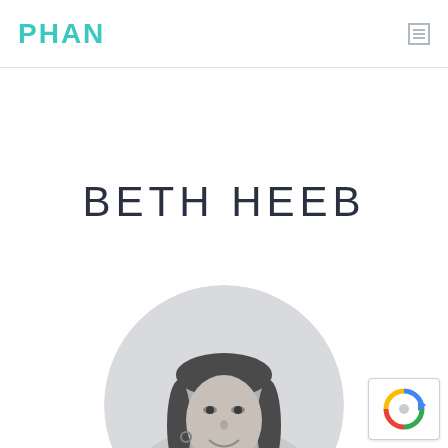PHAN
BETH HEEB
[Figure (photo): Black and white circular portrait photo of Beth Heeb, a woman with straight dark hair and hoop earrings, smiling, on a light gray circular background]